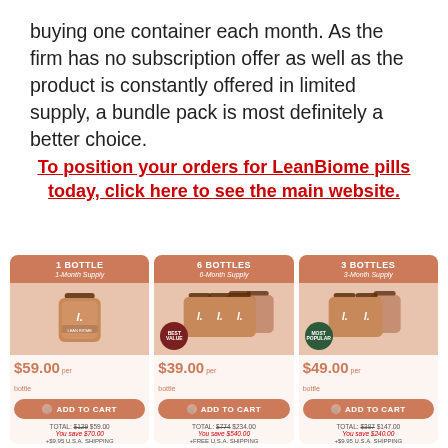buying one container each month. As the firm has no subscription offer as well as the product is constantly offered in limited supply, a bundle pack is most definitely a better choice.
To position your orders for LeanBiome pills today, click here to see the main website.
[Figure (infographic): Three product pricing cards for LeanBiome pills: 1 BOTTLE 1-Month Supply $59.00 per bottle, ADD TO CART, TOTAL: $129 $59.00, You save $70.00, +$9.95 U.S.A. SHIPPING; 6 BOTTLES 6-Month Supply $39.00 per bottle, ADD TO CART, TOTAL: $774 $234.00, You save $540.00, FREE U.S.A. SHIPPING; 3 BOTTLES 3-Month Supply $49.00 per bottle, ADD TO CART, TOTAL: $387 $147.00, You save $240.00, +$9.95 U.S.A. SHIPPING]